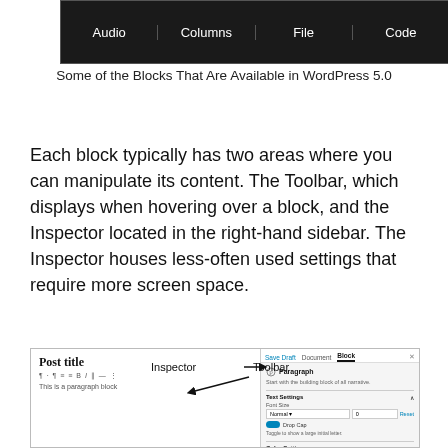[Figure (screenshot): Row of WordPress block type buttons (Audio, Columns, File, Code) shown on dark background]
Some of the Blocks That Are Available in WordPress 5.0
Each block typically has two areas where you can manipulate its content. The Toolbar, which displays when hovering over a block, and the Inspector located in the right-hand sidebar. The Inspector houses less-often used settings that require more screen space.
[Figure (screenshot): WordPress 5.0 block editor showing Post title, Toolbar annotation arrow, and Inspector panel on the right with Block settings including Text Settings and Color Settings sections.]